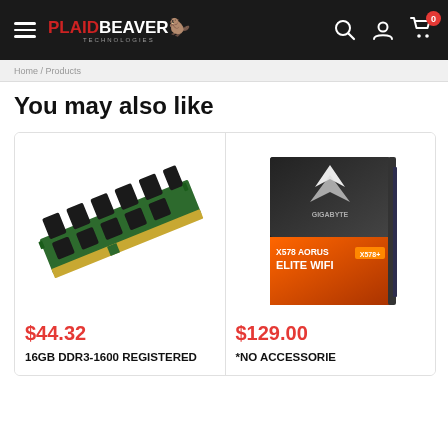PlaidBeaver Technologies — navigation bar with hamburger menu, logo, search, account, and cart icons
You may also like
[Figure (photo): Green DDR3 RAM stick (16GB) oriented diagonally on white background]
$44.32
16GB DDR3-1600 REGISTERED
[Figure (photo): Gigabyte X578 AORUS Elite WIFI motherboard box with dark background and orange logo elements]
$129.00
*NO ACCESSORIE